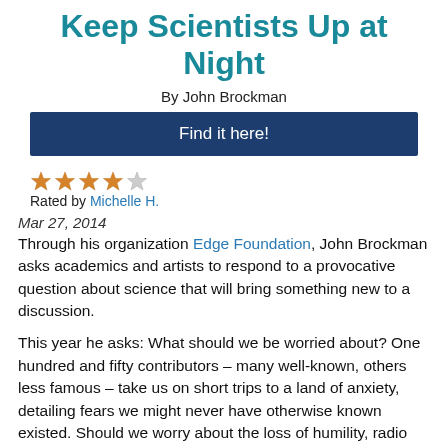Keep Scientists Up at Night
By John Brockman
Find it here!
[Figure (other): 4-star rating (4 out of 5 stars) with text 'Rated by Michelle H.']
Mar 27, 2014
Through his organization Edge Foundation, John Brockman asks academics and artists to respond to a provocative question about science that will bring something new to a discussion.
This year he asks: What should we be worried about? One hundred and fifty contributors – many well-known, others less famous – take us on short trips to a land of anxiety, detailing fears we might never have otherwise known existed. Should we worry about the loss of humility, radio leakage, maniacal robots and the black hole of finance? Shouldn't we also burden our worries with the worry about worry? What about